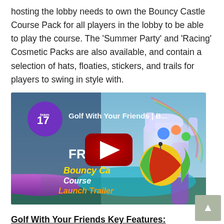hosting the lobby needs to own the Bouncy Castle Course Pack for all players in the lobby to be able to play the course. The 'Summer Party' and 'Racing' Cosmetic Packs are also available, and contain a selection of hats, floaties, stickers, and trails for players to swing in style with.
[Figure (screenshot): YouTube video thumbnail for 'Golf With Your Friends | B...' showing the Bouncy Castle Course Launch Trailer with Team17 logo, colorful golf game imagery, bouncy castle course, beach ball character, and YouTube play button overlay.]
Golf With Your Friends Key Features:
Fantastically themed courses: Tee off